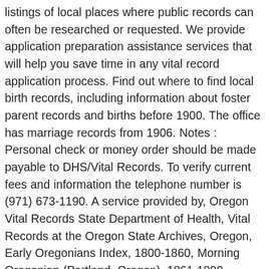listings of local places where public records can often be researched or requested. We provide application preparation assistance services that will help you save time in any vital record application process. Find out where to find local birth records, including information about foster parent records and births before 1900. The office has marriage records from 1906. Notes : Personal check or money order should be made payable to DHS/Vital Records. To verify current fees and information the telephone number is (971) 673-1190. A service provided by, Oregon Vital Records State Department of Health, Vital Records at the Oregon State Archives, Oregon, Early Oregonians Index, 1800-1860, Morning Oregonian (Portland, Oregon), 1861-1890, Oregon, Births and Christenings, 1868-1929, Oregon State Archives Delayed Birth Index, United States Marriages – Oregon, 1826-1975, Oregon Marriage Index, 1849-1884; 1991-2006, Oregon Marriage Indexes, 1906-1924, 1946-2008, United States Social Security Death Index, U.S., Social Security Death Index, 1935-2014, U.S., Social Security Applications and Claims Index, 1936-2007, Oregon